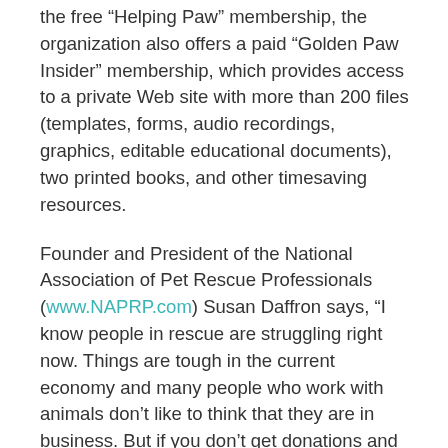the free “Helping Paw” membership, the organization also offers a paid “Golden Paw Insider” membership, which provides access to a private Web site with more than 200 files (templates, forms, audio recordings, graphics, editable educational documents), two printed books, and other timesaving resources.
Founder and President of the National Association of Pet Rescue Professionals (www.NAPRP.com) Susan Daffron says, “I know people in rescue are struggling right now. Things are tough in the current economy and many people who work with animals don’t like to think that they are in business. But if you don’t get donations and